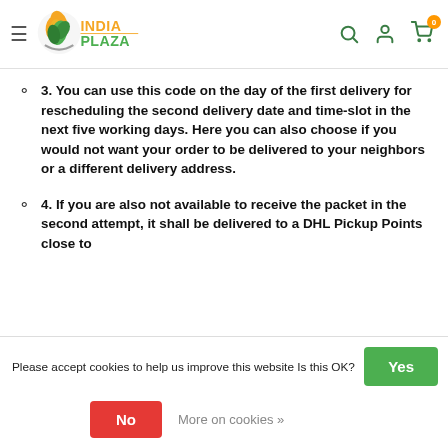India Plaza header with logo and navigation icons
3. You can use this code on the day of the first delivery for rescheduling the second delivery date and time-slot in the next five working days. Here you can also choose if you would not want your order to be delivered to your neighbors or a different delivery address.
4. If you are also not available to receive the packet in the second attempt, it shall be delivered to a DHL Pickup Points close to
Please accept cookies to help us improve this website Is this OK?
Yes
No
More on cookies »